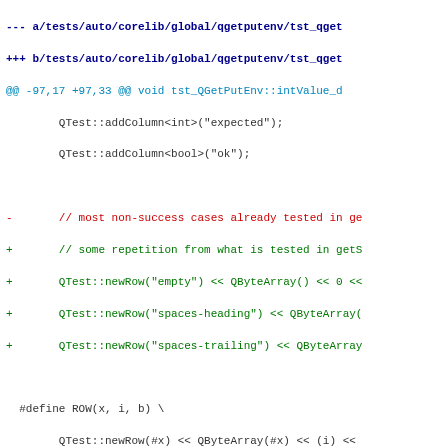[Figure (screenshot): A code diff view showing changes to a C++ test file tst_qgetputenv. The diff shows removed lines in red, added lines in green, and context lines in dark/black. The file path is shown in blue at the top. The diff includes changes to QTest row definitions using a ROW macro.]